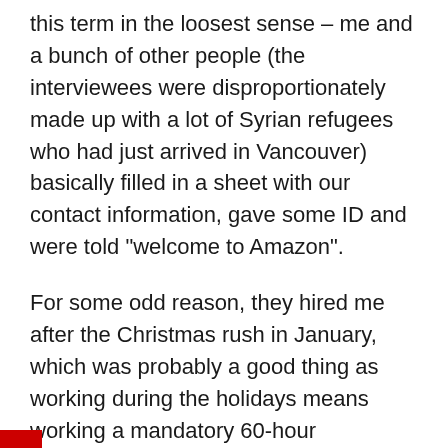this term in the loosest sense – me and a bunch of other people (the interviewees were disproportionately made up with a lot of Syrian refugees who had just arrived in Vancouver) basically filled in a sheet with our contact information, gave some ID and were told “welcome to Amazon”.
For some odd reason, they hired me after the Christmas rush in January, which was probably a good thing as working during the holidays means working a mandatory 60-hour workweek. Amazon has basically five positions: